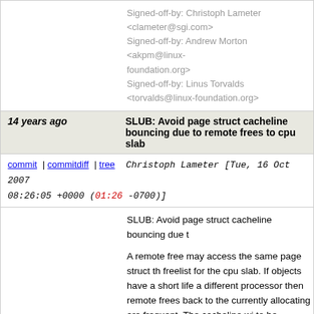Signed-off-by: Christoph Lameter <clameter@sgi.com>
Signed-off-by: Andrew Morton <akpm@linux-foundation.org>
Signed-off-by: Linus Torvalds <torvalds@linux-foundation.org>
14 years ago   SLUB: Avoid page struct cacheline bouncing due to remote frees to cpu slab
commit | commitdiff | tree   Christoph Lameter [Tue, 16 Oct 2007 08:26:05 +0000 (01:26 -0700)]
SLUB: Avoid page struct cacheline bouncing due t

A remote free may access the same page struct th freelist for the cpu slab. If objects have a short life a different processor then remote frees back to the currently allocating are frequent. The cacheline wi to be repeately acquired in exclusive mode by both the freeing thread. If this is frequent enough then p because of cacheline bouncing.

This patchset puts the lockless_freelist pointer in i order to make that happen we introduce a per cpu kmem_cache_cpu.

Instead of keeping an array of pointers to page str to a per cpu structure that--